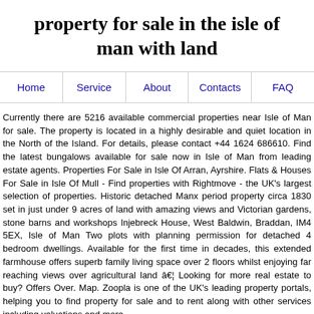property for sale in the isle of man with land
Home
Service
About
Contacts
FAQ
Currently there are 5216 available commercial properties near Isle of Man for sale. The property is located in a highly desirable and quiet location in the North of the Island. For details, please contact +44 1624 686610. Find the latest bungalows available for sale now in Isle of Man from leading estate agents. Properties For Sale in Isle Of Arran, Ayrshire. Flats & Houses For Sale in Isle Of Mull - Find properties with Rightmove - the UK's largest selection of properties. Historic detached Manx period property circa 1830 set in just under 9 acres of land with amazing views and Victorian gardens, stone barns and workshops Injebreck House, West Baldwin, Braddan, IM4 5EX, Isle of Man Two plots with planning permission for detached 4 bedroom dwellings. Available for the first time in decades, this extended farmhouse offers superb family living space over 2 floors whilst enjoying far reaching views over agricultural land â€¦ Looking for more real estate to buy? Offers Over. Map. Zoopla is one of the UK's leading property portals, helping you to find property for sale and to rent along with other services including valuations and more.